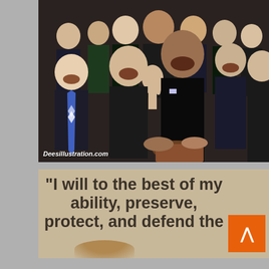[Figure (photo): A composite/illustrated photo showing a group of laughing politicians and public figures gathered around someone being sworn in, with a person placing hand on a book. Watermark reads 'Deesillustration.com' in bottom left corner.]
“I will to the best of my ability, preserve, protect, and defend the